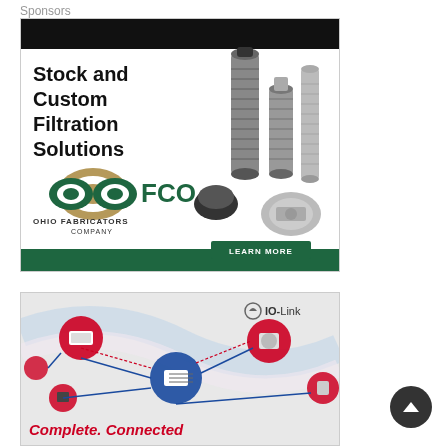Sponsors
[Figure (illustration): OFCO advertisement showing industrial filtration products (cylindrical filter elements, mesh basket, pump component) with text 'Stock and Custom Filtration Solutions' and OFCO Ohio Fabricators Company logo and 'LEARN MORE' button on green background]
[Figure (illustration): IO-Link advertisement showing connected industrial components (sensors, actuators, controllers) linked by red and blue network lines with IO-Link logo and partial text 'Complete, Connected']